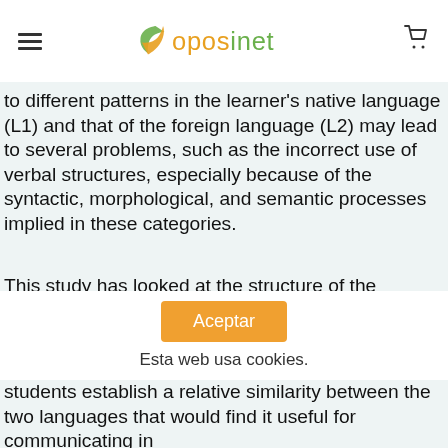oposinet
to different patterns in the learner's native language (L1) and that of the foreign language (L2) may lead to several problems, such as the incorrect use of verbal structures, especially because of the syntactic, morphological, and semantic processes implied in these categories.
This study has looked at the structure of the sentence structure in terms of form and function, that is, regarding morphological and phonological forms and syntactic
Aceptar
Esta web usa cookies.
students establish a relative similarity between the two languages that would find it useful for communicating in